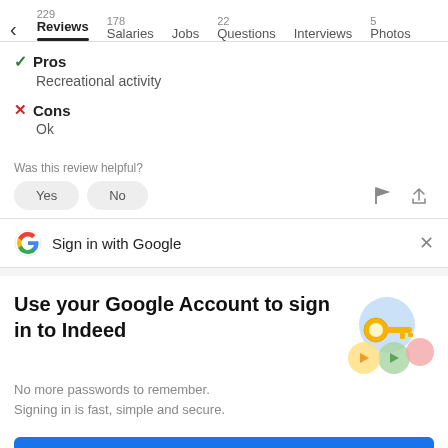229 Reviews | 178 Salaries | Jobs | 22 Questions | Interviews | 5 Photos
Pros
Recreational activity
Cons
Ok
Was this review helpful?
[Figure (screenshot): Yes and No buttons, flag icon, share icon]
Sign in with Google
Use your Google Account to sign in to Indeed
No more passwords to remember.
Signing in is fast, simple and secure.
[Figure (illustration): Google sign-in key illustration with colorful circles]
Continue